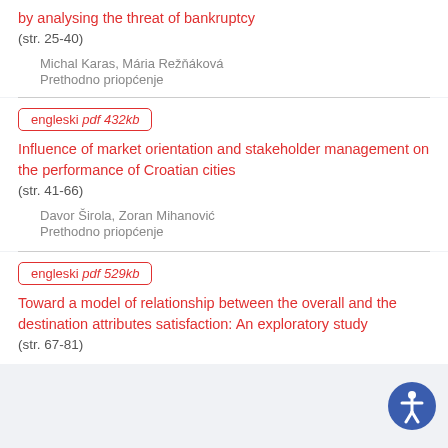by analysing the threat of bankruptcy
(str. 25-40)
Michal Karas, Mária Režňáková
Prethodno priopćenje
engleski pdf 432kb
Influence of market orientation and stakeholder management on the performance of Croatian cities
(str. 41-66)
Davor Širola, Zoran Mihanović
Prethodno priopćenje
engleski pdf 529kb
Toward a model of relationship between the overall and the destination attributes satisfaction: An exploratory study
(str. 67-81)